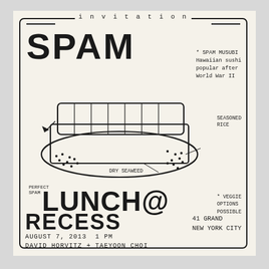INVITATION
SPAM
[Figure (illustration): Hand-drawn sketch of Spam Musubi (Hawaiian sushi) showing a block of spam on top of seasoned rice wrapped in dry seaweed, with annotation lines pointing to components]
* SPAM MUSUBI Hawaiian sushi popular after World War II
SEASONED RICE
DRY SEAWEED
PERFECT SPAM
LUNCH@
* VEGGIE OPTIONS POSSIBLE
RECESS
41 GRAND NEW YORK CITY
AUGUST 7, 2013  1 PM
DAVID HORVITZ + TAEYOON CHOI